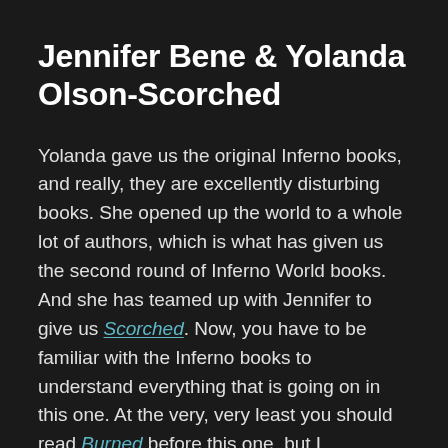Jennifer Bene & Yolanda Olson-Scorched
Yolanda gave us the original Inferno books, and really, they are excellently disturbing books. She opened up the world to a whole lot of authors, which is what has given us the second round of Inferno World books. And she has teamed up with Jennifer to give us Scorched. Now, you have to be familiar with the Inferno books to understand everything that is going on in this one. At the very, very least you should read Burned before this one, but I personally recommend going back to the